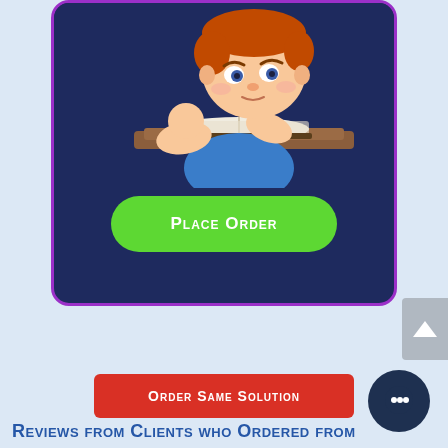[Figure (illustration): Cartoon boy sitting at a desk writing in an open book with a pencil, looking thoughtful, on a dark navy blue background]
[Figure (other): Green rounded rectangle button with text 'Place Order' in white small-caps font]
[Figure (other): Gray scroll-to-top button on the right side with an upward arrow]
[Figure (other): Red rounded rectangle button with text 'Order Same Solution' in white small-caps]
[Figure (other): Dark navy circle chat bubble icon on the right]
Reviews from Clients who Ordered from